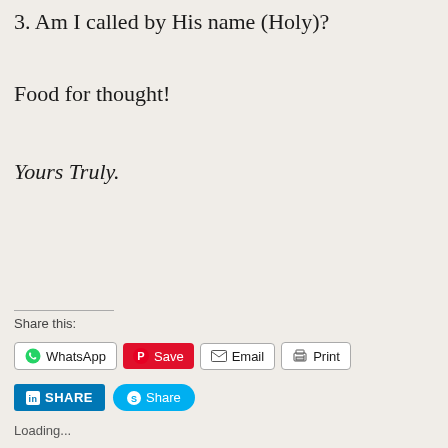3. Am I called by His name (Holy)?
Food for thought!
Yours Truly.
Share this:
[Figure (screenshot): Social share buttons: WhatsApp, Save (Pinterest), Email, Print, LinkedIn Share, Skype Share]
Loading...